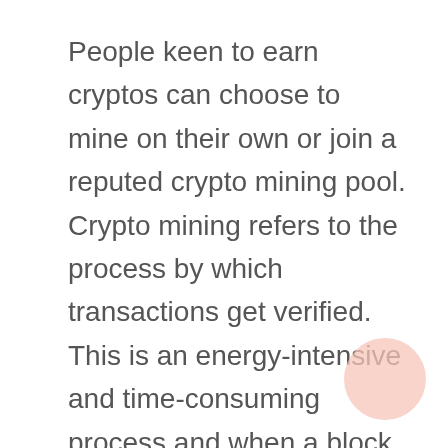People keen to earn cryptos can choose to mine on their own or join a reputed crypto mining pool. Crypto mining refers to the process by which transactions get verified. This is an energy-intensive and time-consuming process and when a block is solved successfully, miners get rewarded in crypto tokens.
[Figure (illustration): A decorative light pink/salmon circle in the bottom-right corner of the page.]